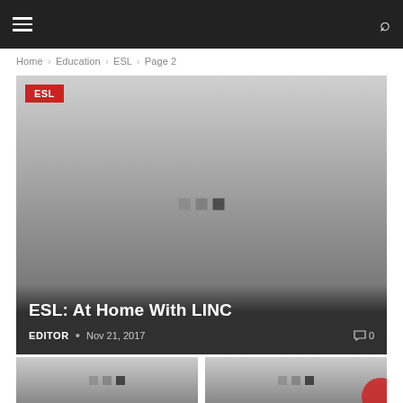Navigation bar with hamburger menu and search icon
Home > Education > ESL > Page 2
[Figure (screenshot): Featured article card with ESL tag, gradient placeholder image with loading dots, title 'ESL: At Home With LINC', author EDITOR, date Nov 21, 2017, and comment count 0]
[Figure (screenshot): Small article card (left) with gradient placeholder image and loading dots]
[Figure (screenshot): Small article card (right) with gradient placeholder image, loading dots, and partial red circle element]